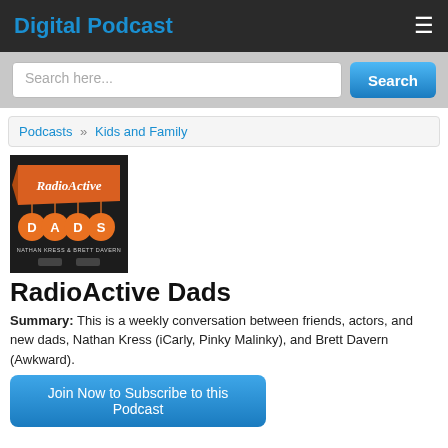Digital Podcast
Search here...
Podcasts » Kids and Family
[Figure (illustration): RadioActive Dads podcast cover art: orange retro banner with 'RadioActive' in script lettering, four orange circles spelling D-A-D-S, 'Nathan Kress & Brett Davern' text, on dark background]
RadioActive Dads
Summary: This is a weekly conversation between friends, actors, and new dads, Nathan Kress (iCarly, Pinky Malinky), and Brett Davern (Awkward).
Join Now to Subscribe to this Podcast